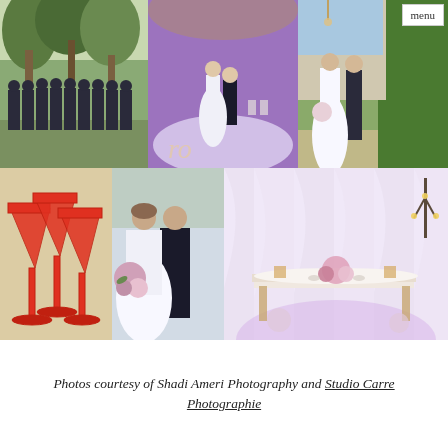[Figure (photo): Collage of six wedding photos: groomsmen standing outdoors under trees, couple's first dance on a lit dance floor with purple lighting, couple posing outdoors at venue, red martini glasses, bride and groom kissing, elegant reception sweetheart table with white draping and purple uplighting. A 'menu' badge appears in the top right corner.]
Photos courtesy of Shadi Ameri Photography and Studio Carre Photographie